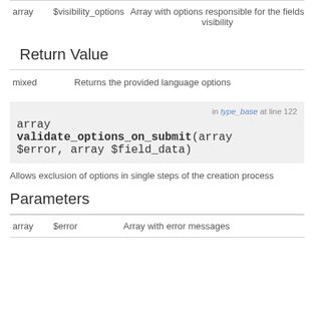| type | name | description |
| --- | --- | --- |
| array | $visibility_options | Array with options responsible for the fields visibility |
Return Value
| type | description |
| --- | --- |
| mixed | Returns the provided language options |
[Figure (other): Code block: array validate_options_on_submit(array $error, array $field_data) in type_base at line 122]
Allows exclusion of options in single steps of the creation process
Parameters
| type | name | description |
| --- | --- | --- |
| array | $error | Array with error messages |